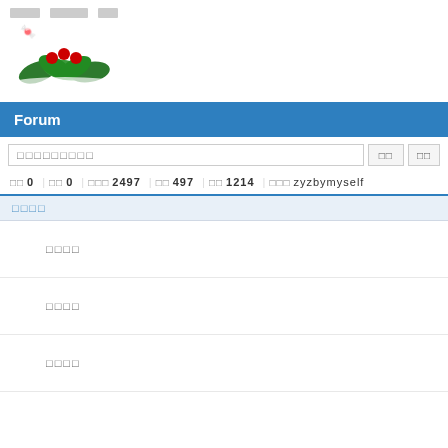□□□□  □□□□  □□
[Figure (illustration): Small Christmas holly decoration with red berries and green leaves]
Forum
□□□□□□□□□  □□  □□
□□ 0  □□ 0  □□□ 2497  □□ 497  □□ 1214  □□□ zyzbymyself
□□□□
□□□□
□□□□
□□□□